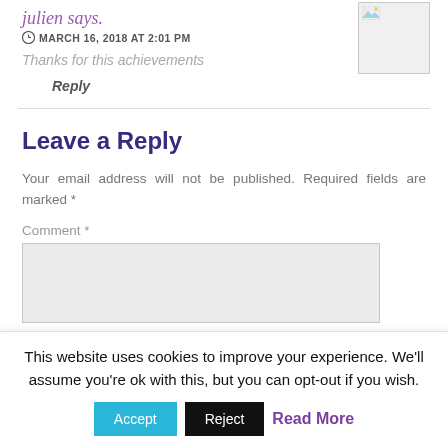julien says.
MARCH 16, 2018 AT 2:01 PM
[Figure (photo): Small avatar image placeholder with broken image icon]
Thanks for this achievements
Reply
Leave a Reply
Your email address will not be published. Required fields are marked *
Comment *
This website uses cookies to improve your experience. We'll assume you're ok with this, but you can opt-out if you wish.
Accept   Reject   Read More